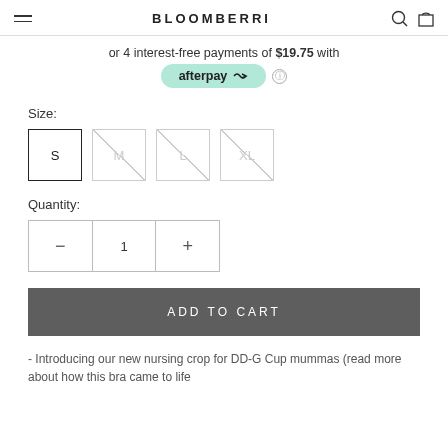BLOOMBERRI
or 4 interest-free payments of $19.75 with afterpay
Size:
S  M  L  XL
Quantity:
1
ADD TO CART
- Introducing our new nursing crop for DD-G Cup mummas (read more about how this bra came to life